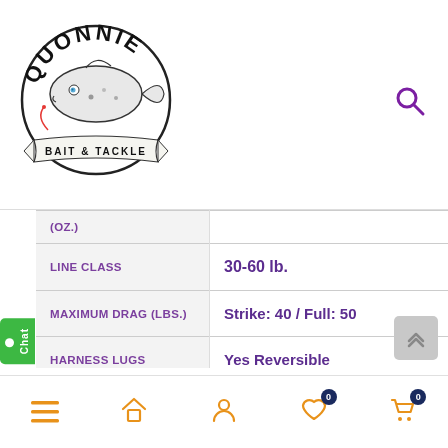[Figure (logo): Quonnie Bait & Tackle logo with fish illustration and banner]
| (OZ.) | ... |
| LINE CLASS | 30-60 lb. |
| MAXIMUM DRAG (LBS.) | Strike: 40 / Full: 50 |
| HARNESS LUGS | Yes Reversible |
| GEAR RATIO | H – 5.4:1 / L – 1.9:1 |
| REEL ... | ... |
Menu | Home | Account | Wishlist (0) | Cart (0)